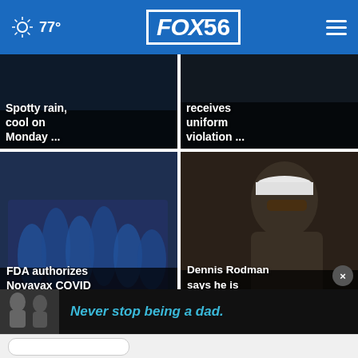FOX 56 — 77°
[Figure (screenshot): News card: Spotty rain, cool on Monday ...]
[Figure (screenshot): News card: receives uniform violation ...]
[Figure (photo): News card: FDA authorizes Novavax COVID vaccine for adults]
[Figure (photo): News card: Dennis Rodman says he is heading to Russia in ...]
[Figure (infographic): Ad banner: Never stop being a dad.]